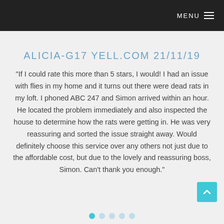MENU
ALICIA-G17 YELL.COM 21/11/19
“If I could rate this more than 5 stars, I would! I had an issue with flies in my home and it turns out there were dead rats in my loft. I phoned ABC 247 and Simon arrived within an hour. He located the problem immediately and also inspected the house to determine how the rats were getting in. He was very reassuring and sorted the issue straight away. Would definitely choose this service over any others not just due to the affordable cost, but due to the lovely and reassuring boss, Simon. Can’t thank you enough.”